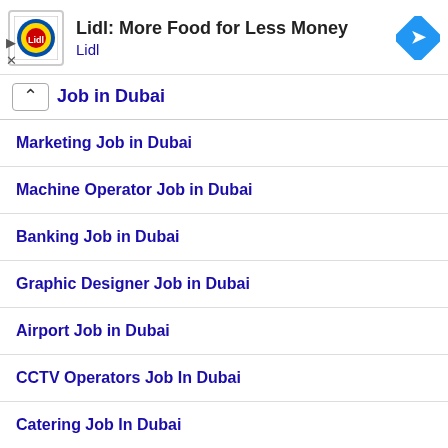[Figure (screenshot): Lidl advertisement banner with Lidl logo, text 'Lidl: More Food for Less Money', 'Lidl' in blue, and a blue diamond navigation icon on the right. Play and close controls on the left.]
Job in Dubai
Marketing Job in Dubai
Machine Operator Job in Dubai
Banking Job in Dubai
Graphic Designer Job in Dubai
Airport Job in Dubai
CCTV Operators Job In Dubai
Catering Job In Dubai
Inventory Controller Jobs In Dubai
Sales Job in Dubai